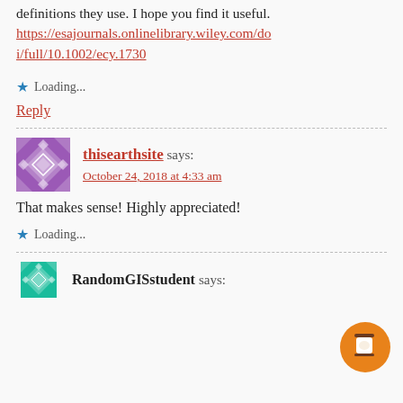definitions they use. I hope you find it useful. https://esajournals.onlinelibrary.wiley.com/doi/full/10.1002/ecy.1730
Loading...
Reply
thisearthsite says: October 24, 2018 at 4:33 am
That makes sense! Highly appreciated!
Loading...
RandomGISstudent says: